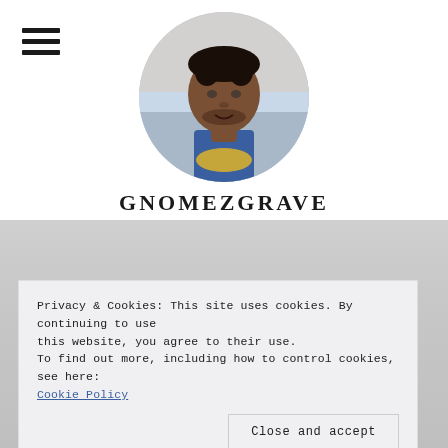[Figure (photo): Circular profile photo of a young man with short dark hair wearing a blue and yellow shirt, with a light sky/water background. Hamburger menu icon (three horizontal lines) in top-left corner.]
GNOMEZGRAVE
[Figure (photo): Blurred gray background section beneath the profile header area.]
Privacy & Cookies: This site uses cookies. By continuing to use this website, you agree to their use.
To find out more, including how to control cookies, see here:
Cookie Policy
Close and accept